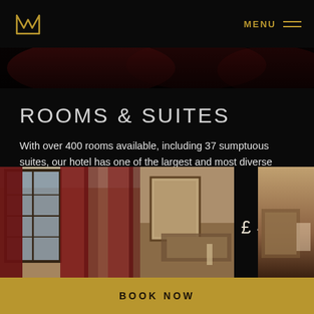M (logo) | MENU
[Figure (photo): Hotel decorative hero image strip with red/dark tones]
ROOMS & SUITES
With over 400 rooms available, including 37 sumptuous suites, our hotel has one of the largest and most diverse selections of rooms and luxury suites in London.
VIEW OUR ROOMS & SUITES >
[Figure (photo): Hotel room photo showing red patterned curtains and large windows]
FROM
£ 409.50
BOOK NOW